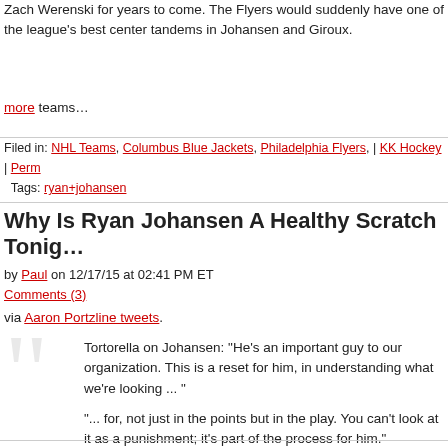Zach Werenski for years to come. The Flyers would suddenly have one of the league's best center tandems in Johansen and Giroux.
more teams…
Filed in: NHL Teams, Columbus Blue Jackets, Philadelphia Flyers, | KK Hockey | Perm Tags: ryan+johansen
Why Is Ryan Johansen A Healthy Scratch Tonig…
by Paul on 12/17/15 at 02:41 PM ET
Comments (3)
via Aaron Portzline tweets.
Tortorella on Johansen: "He's an important guy to our organization. This is a reset for him, in understanding what we're looking ... "
"... for, not just in the points but in the play. You can't look at it as a punishment; it's part of the process for him."
Tortorella said Johansen will be shown video to illustrate what #CBJ are looking for in his play.